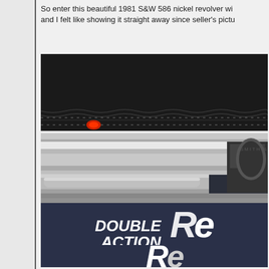So enter this beautiful 1981 S&W 586 nickel revolver wi... and I felt like showing it straight away since seller's pictu...
[Figure (photo): Close-up photo of a nickel-plated Smith & Wesson Model 586 revolver barrel resting on a dark blue box labeled 'DOUBLE ACTION Re...' with Smith & Wesson Double Action Revolver box visible underneath.]